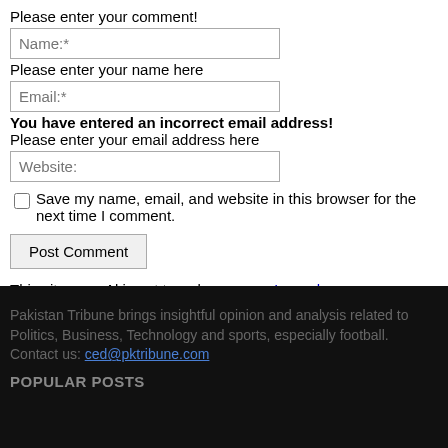Please enter your comment!
Name:*
Please enter your name here
Email:*
You have entered an incorrect email address!
Please enter your email address here
Website:
Save my name, email, and website in this browser for the next time I comment.
Post Comment
This site uses Akismet to reduce spam. Learn how your comment data is processed.
Pakistan Tribune brings insightful opinion and analysis related to Politics, Business, Technology and sports, especially football. Contact us: ced@pktribune.com
POPULAR POSTS